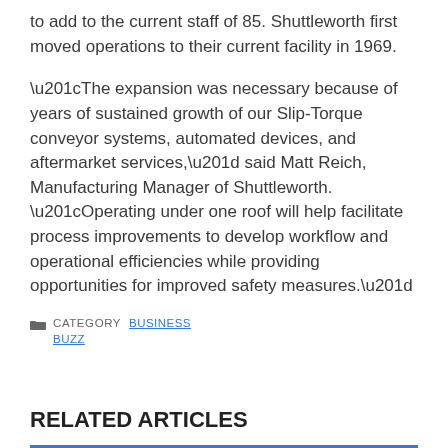to add to the current staff of 85. Shuttleworth first moved operations to their current facility in 1969.
“The expansion was necessary because of years of sustained growth of our Slip-Torque conveyor systems, automated devices, and aftermarket services,” said Matt Reich, Manufacturing Manager of Shuttleworth. “Operating under one roof will help facilitate process improvements to develop workflow and operational efficiencies while providing opportunities for improved safety measures.”
CATEGORY  BUSINESS BUZZ
RELATED ARTICLES